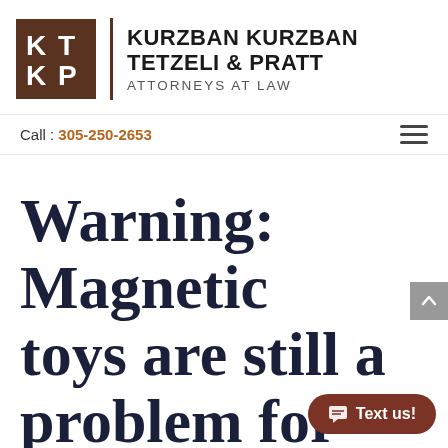[Figure (logo): KKTP logo - brown square with white K and P letters, followed by firm name Kurzban Kurzban Tetzeli & Pratt, Attorneys at Law]
Call : 305-250-2653
Warning: Magnetic toys are still a problem for